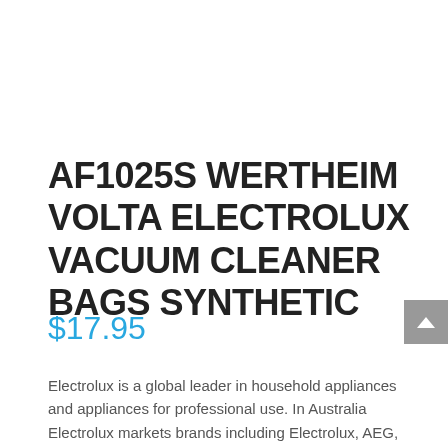AF1025S WERTHEIM VOLTA ELECTROLUX VACUUM CLEANER BAGS SYNTHETIC
$17.95
Electrolux is a global leader in household appliances and appliances for professional use. In Australia Electrolux markets brands including Electrolux, AEG, Chef, Dishlex, Kelvinator, Beefeater, Vintec and